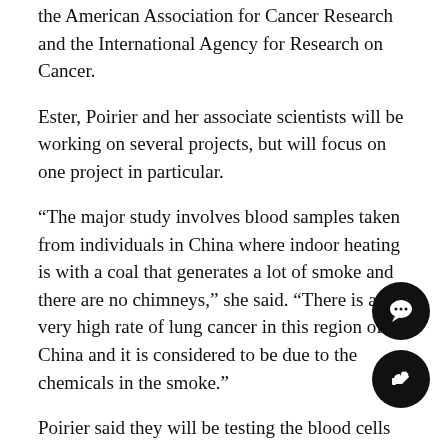the American Association for Cancer Research and the International Agency for Research on Cancer.
Ester, Poirier and her associate scientists will be working on several projects, but will focus on one project in particular.
“The major study involves blood samples taken from individuals in China where indoor heating is with a coal that generates a lot of smoke and there are no chimneys,” she said. “There is a very high rate of lung cancer in this region of China and it is considered to be due to the chemicals in the smoke.”
Poirier said they will be testing the blood cells DNA damage caused by smoke that is typically cancer-causing.